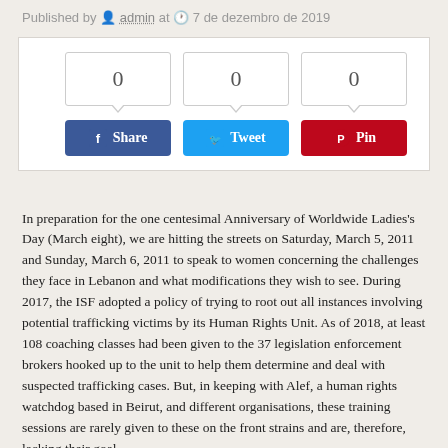Published by admin at 7 de dezembro de 2019
[Figure (screenshot): Social share widget with three count bubbles showing '0' each, and three buttons: Facebook Share, Twitter Tweet, Pinterest Pin]
In preparation for the one centesimal Anniversary of Worldwide Ladies's Day (March eight), we are hitting the streets on Saturday, March 5, 2011 and Sunday, March 6, 2011 to speak to women concerning the challenges they face in Lebanon and what modifications they wish to see. During 2017, the ISF adopted a policy of trying to root out all instances involving potential trafficking victims by its Human Rights Unit. As of 2018, at least 108 coaching classes had been given to the 37 legislation enforcement brokers hooked up to the unit to help them determine and deal with suspected trafficking cases. But, in keeping with Alef, a human rights watchdog based in Beirut, and different organisations, these training sessions are rarely given to these on the front strains and are, therefore, lacking their goal.